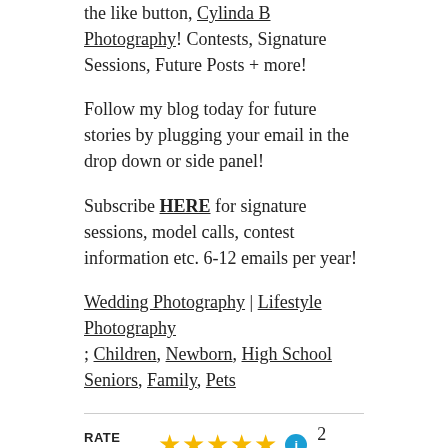the like button, Cylinda B Photography! Contests, Signature Sessions, Future Posts + more!
Follow my blog today for future stories by plugging your email in the drop down or side panel!
Subscribe HERE for signature sessions, model calls, contest information etc. 6-12 emails per year!
Wedding Photography | Lifestyle Photography ; Children, Newborn, High School Seniors, Family, Pets
RATE THIS: ★★★★★ ⓘ 2 Votes
SHARE THIS:
Tweet  Email  Save
Like